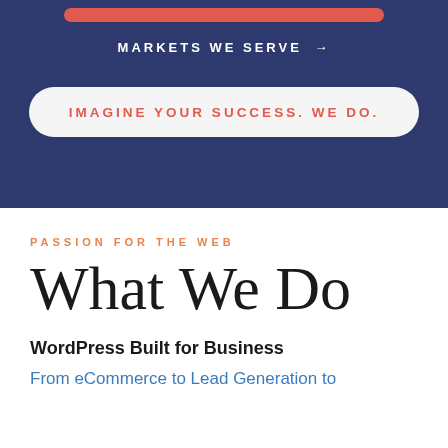[Figure (other): Red pill/bar button at the top of a dark navy blue section]
MARKETS WE SERVE →
IMAGINE YOUR SUCCESS. WE DO.
PASSION FOR THE WEB
What We Do
WordPress Built for Business
From eCommerce to Lead Generation to